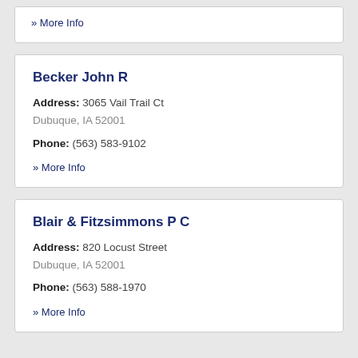» More Info
Becker John R
Address: 3065 Vail Trail Ct Dubuque, IA 52001
Phone: (563) 583-9102
» More Info
Blair & Fitzsimmons P C
Address: 820 Locust Street Dubuque, IA 52001
Phone: (563) 588-1970
» More Info